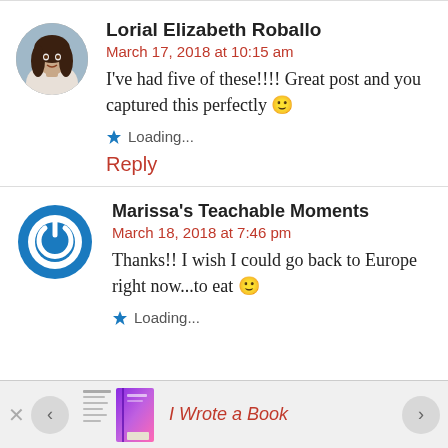[Figure (photo): Circular avatar photo of a woman with long dark hair]
Lorial Elizabeth Roballo
March 17, 2018 at 10:15 am
I've had five of these!!!! Great post and you captured this perfectly 🙂
Loading...
Reply
[Figure (logo): Blue circular power button icon for Marissa's Teachable Moments]
Marissa's Teachable Moments
March 18, 2018 at 7:46 pm
Thanks!! I wish I could go back to Europe right now...to eat 🙂
Loading...
[Figure (photo): Book cover image with gradient purple/pink cover]
I Wrote a Book